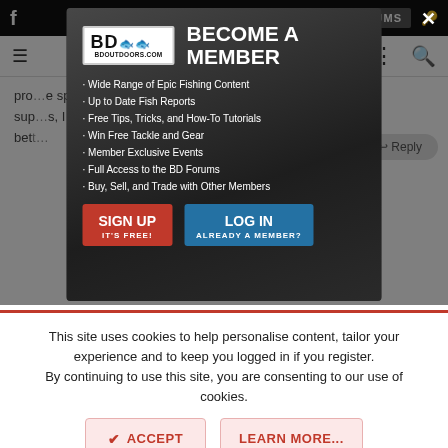[Figure (screenshot): BD Outdoors website screenshot showing a modal popup with 'Become a Member' offer, navigation bars, partial article text, and cookie consent notice. The modal features BD Outdoors logo, membership benefits list, SIGN UP and LOG IN buttons. Below is a cookie notice with ACCEPT and LEARN MORE buttons.]
Wide Range of Epic Fishing Content
Up to Date Fish Reports
Free Tips, Tricks, and How-To Tutorials
Win Free Tackle and Gear
Member Exclusive Events
Full Access to the BD Forums
Buy, Sell, and Trade with Other Members
BECOME A MEMBER
SIGN UP
IT'S FREE!
LOG IN
ALREADY A MEMBER?
This site uses cookies to help personalise content, tailor your experience and to keep you logged in if you register.
By continuing to use this site, you are consenting to our use of cookies.
ACCEPT
LEARN MORE...